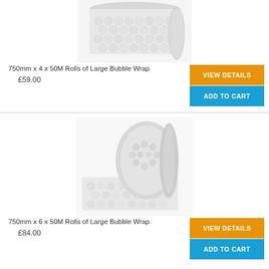[Figure (photo): Photo of bubble wrap roll from above, partially cropped at top]
750mm x 4 x 50M Rolls of Large Bubble Wrap
£59.00
VIEW DETAILS
ADD TO CART
[Figure (photo): Photo of a roll of large bubble wrap sitting on unrolled sheet]
750mm x 6 x 50M Rolls of Large Bubble Wrap
£84.00
VIEW DETAILS
ADD TO CART